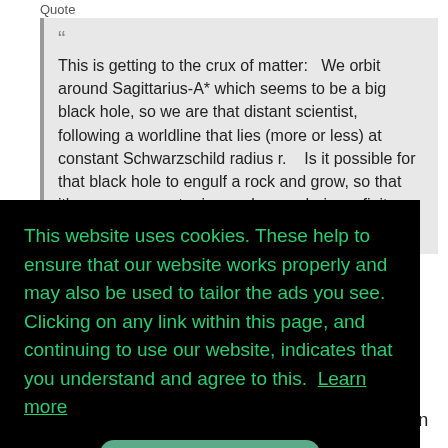Quote
This is getting to the crux of matter:   We orbit around Sagittarius-A* which seems to be a big black hole, so we are that distant scientist, following a worldline that lies (more or less) at constant Schwarzschild radius r.    Is it possible for that black hole to engulf a rock and grow, so that it's mass parameter is now larger, during a finite amount of time for us scientists?
Hard to say, since the question is abstract, not
This website uses cookies. These help to ensure that our website works properly and may also be used to tailor the ads you see. Clicking on any link within this page, and continuing to use our website, indicates that you understand and agree to this.  Learn more
Got it!
answers. More below, but your comments are on